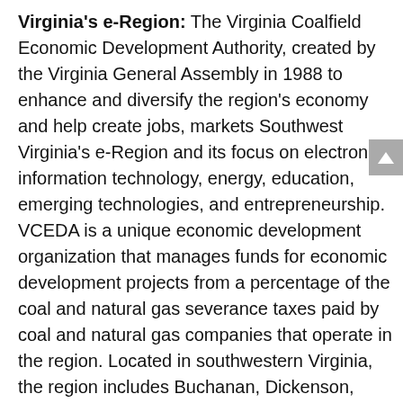Virginia's e-Region: The Virginia Coalfield Economic Development Authority, created by the Virginia General Assembly in 1988 to enhance and diversify the region's economy and help create jobs, markets Southwest Virginia's e-Region and its focus on electronic information technology, energy, education, emerging technologies, and entrepreneurship. VCEDA is a unique economic development organization that manages funds for economic development projects from a percentage of the coal and natural gas severance taxes paid by coal and natural gas companies that operate in the region. Located in southwestern Virginia, the region includes Buchanan, Dickenson, Lee, Russell, Scott, Tazewell, and Wise counties and the City of Norton. www.vceda.us or www.e-Region.org.